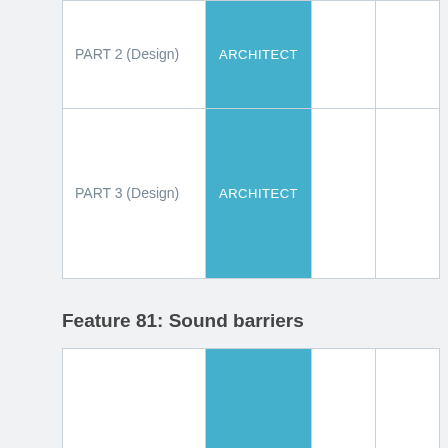| Part | Responsibility |  |  |
| --- | --- | --- | --- |
| PART 2 (Design) | ARCHITECT |  |  |
| PART 3 (Design) | ARCHITECT |  |  |
Feature 81: Sound barriers
| Part | Responsibility |  |  |
| --- | --- | --- | --- |
| PART 1 (Design) | ARCHITECT |  |  |
| PART 2 (Design) | ARCHITECT & CONTRACTOR |  |  |